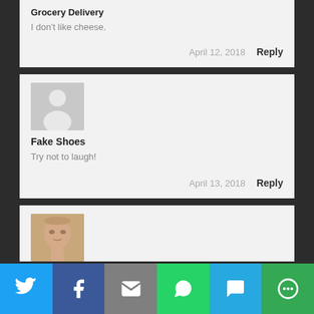Grocery Delivery
I don't like cheese.
April 12, 2018   Reply
[Figure (illustration): Default user avatar placeholder - grey silhouette on grey background]
Fake Shoes
Try not to laugh!
April 13, 2018   Reply
[Figure (photo): Partial photo of a bald man visible at bottom of page]
[Figure (infographic): Social share bar with Twitter, Facebook, Email, WhatsApp, SMS, and More buttons]